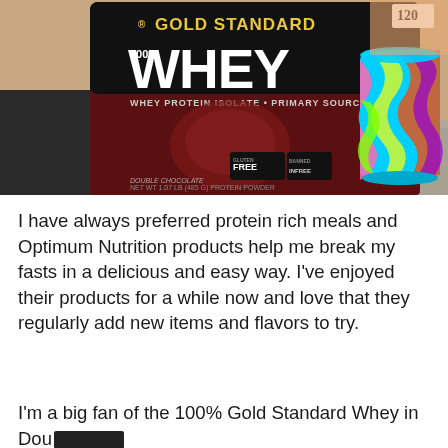[Figure (photo): Photo of a Gold Standard 100% Whey protein powder bag (double rich chocolate flavor, gluten free, banned substance free, whey protein isolate primary source) next to a colorful rainbow swirl silicone cup on a granite countertop.]
I have always preferred protein rich meals and Optimum Nutrition products help me break my fasts in a delicious and easy way. I've enjoyed their products for a while now and love that they regularly add new items and flavors to try.
I'm a big fan of the 100% Gold Standard Whey in Dou[redacted]